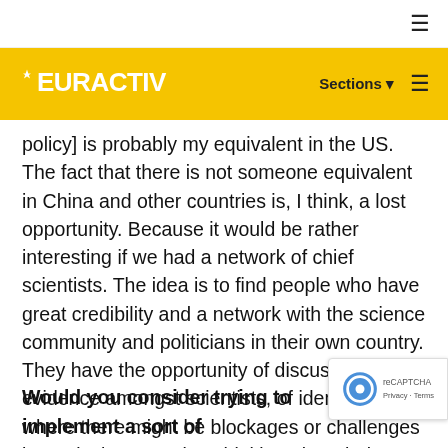EURACTIV — Sections
policy] is probably my equivalent in the US. The fact that there is not someone equivalent in China and other countries is, I think, a lost opportunity. Because it would be rather interesting if we had a network of chief scientists. The idea is to find people who have great credibility and a network with the science community and politicians in their own country. They have the opportunity of discussing evidence amongst scientists, of identifying where there might be blockages or challenges in particular countries, thinking about being imaginative about that evidence, and then to go back to politicians and giving them – I think – a much better sense of security about using the evidence.
Would you consider trying to implement a sort of